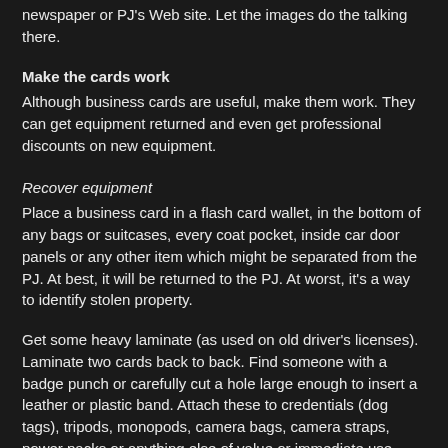newspaper or PJ's Web site. Let the images do the talking there.
Make the cards work
Although business cards are useful, make them work. They can get equipment returned and even get professional discounts on new equipment.
Recover equipment
Place a business card in a flash card wallet, in the bottom of any bags or suitcases, every coat pocket, inside car door panels or any other item which might be separated from the PJ. At best, it will be returned to the PJ. At worst, it's a way to identify stolen property.
Get some heavy laminate (as used on old driver's licenses). Laminate two cards back to back. Find someone with a badge punch or carefully cut a hole large enough to insert a leather or plastic band. Attach these to credentials (dog tags), tripods, monopods, camera bags, camera straps, power packs or anything else of value or immediate use.
Normally, people are very kind to news PJs and immediately call the PJ's cell phone if an item is forgotten when the PJ ran out the door to cover a fire. At the least, the PJ has a return number to claim missing